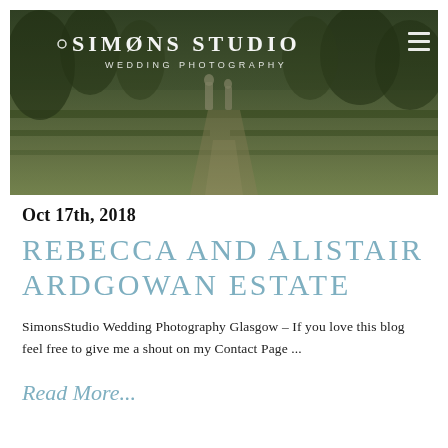[Figure (photo): Aerial/landscape photo of a formal garden estate with hedgerows, pathways, statues, and lush greenery. Overlaid with 'SIMONS STUDIO - WEDDING PHOTOGRAPHY' text and logo in white.]
Oct 17th, 2018
REBECCA AND ALISTAIR ARDGOWAN ESTATE
SimonsStudio Wedding Photography Glasgow – If you love this blog feel free to give me a shout on my Contact Page ...
Read More...